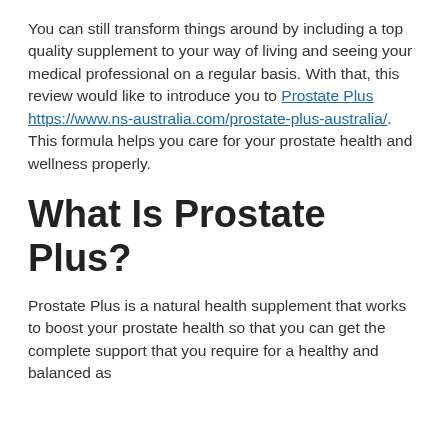You can still transform things around by including a top quality supplement to your way of living and seeing your medical professional on a regular basis. With that, this review would like to introduce you to Prostate Plus https://www.ns-australia.com/prostate-plus-australia/. This formula helps you care for your prostate health and wellness properly.
What Is Prostate Plus?
Prostate Plus is a natural health supplement that works to boost your prostate health so that you can get the complete support that you require for a healthy and balanced as